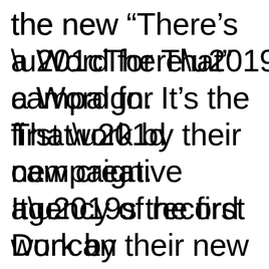the new “There’s a Word for That” campaign. It’s the first work by their new creative agency of record Duncan Channon.  The new national campaign “There’s a Word f